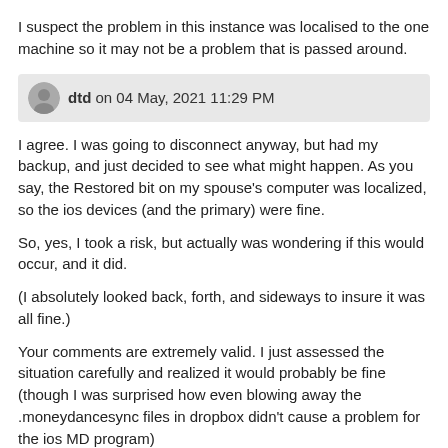I suspect the problem in this instance was localised to the one machine so it may not be a problem that is passed around.
dtd on 04 May, 2021 11:29 PM
I agree. I was going to disconnect anyway, but had my backup, and just decided to see what might happen. As you say, the Restored bit on my spouse's computer was localized, so the ios devices (and the primary) were fine.
So, yes, I took a risk, but actually was wondering if this would occur, and it did.
(I absolutely looked back, forth, and sideways to insure it was all fine.)
Your comments are extremely valid. I just assessed the situation carefully and realized it would probably be fine (though I was surprised how even blowing away the .moneydancesync files in dropbox didn't cause a problem for the ios MD program)
dwg on 05 May, 2021 03:18 AM